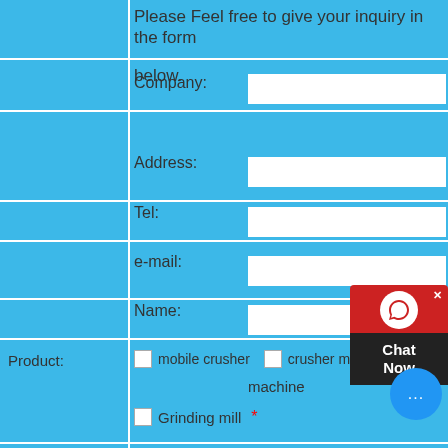Please Feel free to give your inquiry in the form below.
Company:
Address:
Tel:
e-mail:
Name:
Product: mobile crusher  crusher machine  Grinding mill *
Production capacity: 200-300t/h  100-200t/h  50-100t/h